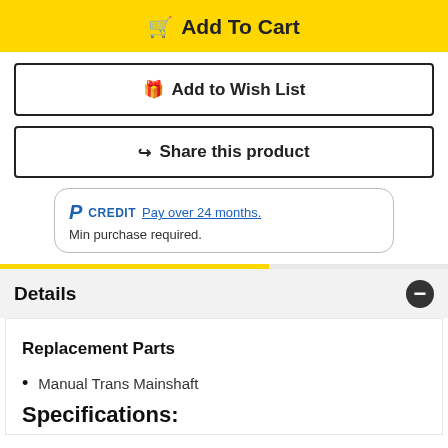🛒 Add To Cart
🎁 Add to Wish List
↪ Share this product
P CREDIT Pay over 24 months. Min purchase required.
Details
Replacement Parts
Manual Trans Mainshaft
Specifications: